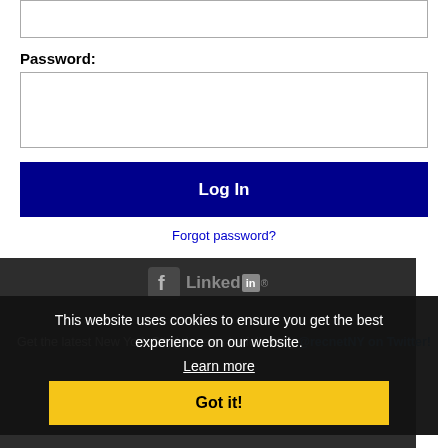Password:
[Figure (screenshot): Login form with password input field, Log In button, and Forgot password link]
Forgot password?
[Figure (screenshot): Cookie consent overlay with social icons (Facebook, LinkedIn), cookie notice text, Learn more link, and Got it! button]
This website uses cookies to ensure you get the best experience on our website.
Learn more
Got it!
Get the latest New York City job news by following @recnetNY on Twitter!
Yonkers RSS job feeds